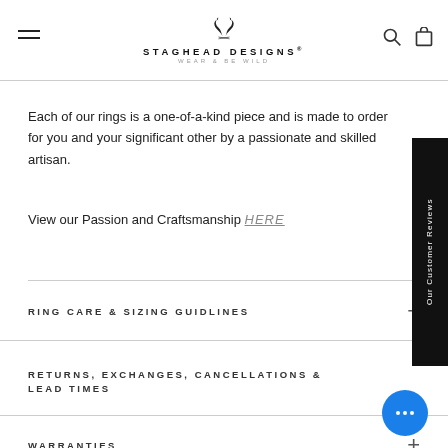STAGHEAD DESIGNS® — WEAR & BE WILD
Each of our rings is a one-of-a-kind piece and is made to order for you and your significant other by a passionate and skilled artisan.
View our Passion and Craftsmanship HERE
RING CARE & SIZING GUIDLINES
RETURNS, EXCHANGES, CANCELLATIONS & LEAD TIMES
WARRANTIES